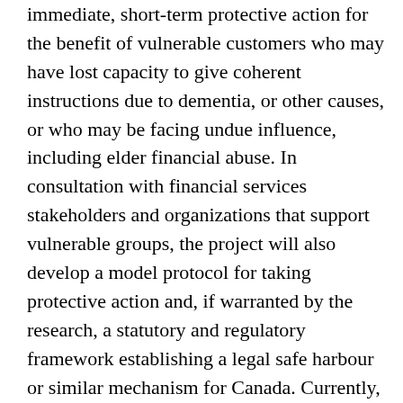immediate, short-term protective action for the benefit of vulnerable customers who may have lost capacity to give coherent instructions due to dementia, or other causes, or who may be facing undue influence, including elder financial abuse. In consultation with financial services stakeholders and organizations that support vulnerable groups, the project will also develop a model protocol for taking protective action and, if warranted by the research, a statutory and regulatory framework establishing a legal safe harbour or similar mechanism for Canada. Currently, financial services firms and advisors do not have the legal authority to refuse or delay carrying out instructions from clients even when there is reason to believe the client lacks capacity or is being taken advantage of financially. This aim of this project is to provide a clear protocol setting out the circumstances in which protective action should be taken and what action is appropriate and to develop a legal safe harbour or other practical mechanism to protect firms and advisors who take